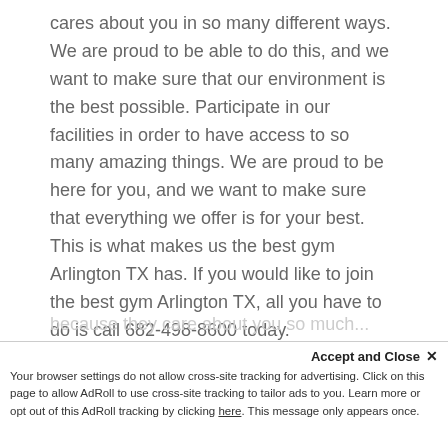cares about you in so many different ways. We are proud to be able to do this, and we want to make sure that our environment is the best possible. Participate in our facilities in order to have access to so many amazing things. We are proud to be here for you, and we want to make sure that everything we offer is for your best. This is what makes us the best gym Arlington TX has. If you would like to join the best gym Arlington TX, all you have to do is call 682-498-8600 today.
At Colaw Fitness, we are so proud of our amazing staff. Our staff here is incredible,
because they care about you so much...
Accept and Close ×
Your browser settings do not allow cross-site tracking for advertising. Click on this page to allow AdRoll to use cross-site tracking to tailor ads to you. Learn more or opt out of this AdRoll tracking by clicking here. This message only appears once.